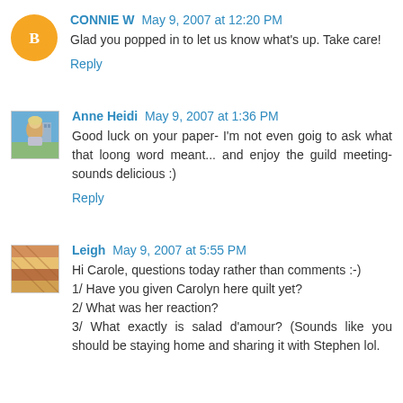CONNIE W May 9, 2007 at 12:20 PM
Glad you popped in to let us know what's up. Take care!
Reply
Anne Heidi May 9, 2007 at 1:36 PM
Good luck on your paper- I'm not even goig to ask what that loong word meant... and enjoy the guild meeting- sounds delicious :)
Reply
Leigh May 9, 2007 at 5:55 PM
Hi Carole, questions today rather than comments :-)
1/ Have you given Carolyn here quilt yet?
2/ What was her reaction?
3/ What exactly is salad d'amour? (Sounds like you should be staying home and sharing it with Stephen lol.